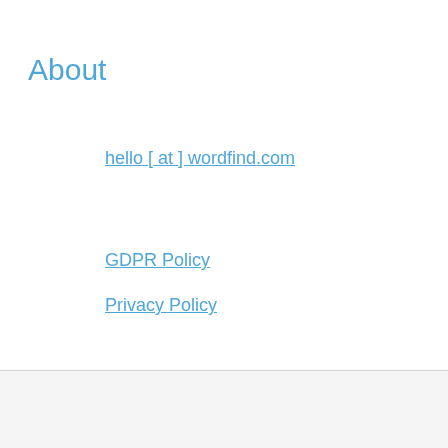About
hello [ at ] wordfind.com
GDPR Policy
Privacy Policy
© wordfind 2025 all rights reserved.
Sponsored Links
[Figure (other): Advertisement banner for Hill's Science Diet Cat Food at Tractorsupply.com with Tractor Supply Co logo and navigation arrow icon]